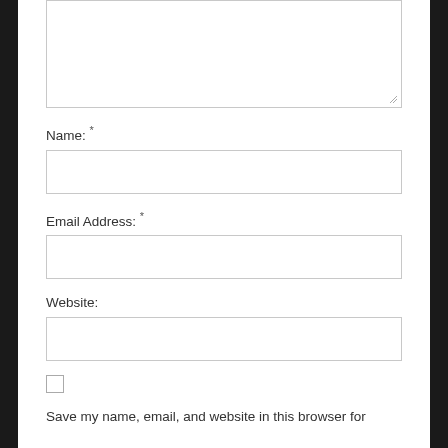[Figure (screenshot): Textarea input box (comment field) with resize handle at bottom right]
Name: *
[Figure (screenshot): Text input box for Name field]
Email Address: *
[Figure (screenshot): Text input box for Email Address field]
Website:
[Figure (screenshot): Text input box for Website field]
Save my name, email, and website in this browser for